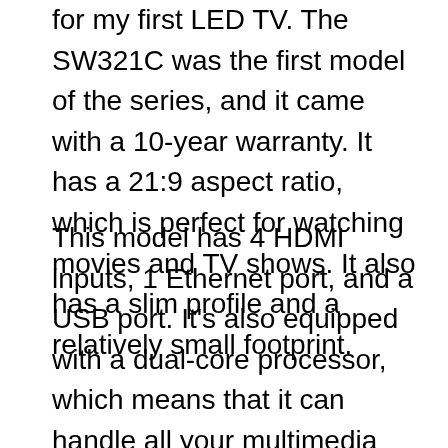for my first LED TV. The SW321C was the first model of the series, and it came with a 10-year warranty. It has a 21:9 aspect ratio, which is perfect for watching movies and TV shows. It also has a slim profile and a relatively small footprint.
This model has 4 HDMI inputs, 1 Ethernet port, and a USB port. It's also equipped with a dual-core processor, which means that it can handle all your multimedia needs. It also comes with a 2.2GHz Intel Core i5 processor, which makes it easy to run all your multimedia apps smoothly. BenQ also includes a remote control, and a microphone for voice input.